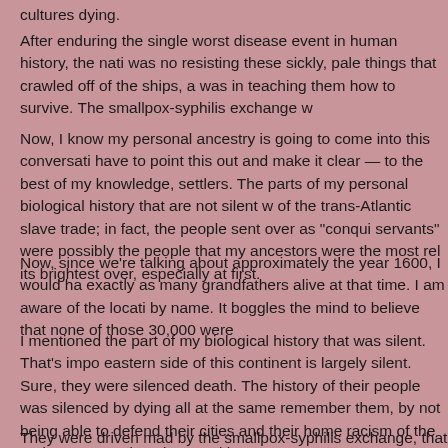cultures dying.
After enduring the single worst disease event in human history, the nati was no resisting these sickly, pale things that crawled off of the ships, a was in teaching them how to survive. The smallpox-syphilis exchange w
Now, I know my personal ancestry is going to come into this conversati have to point this out and make it clear — to the best of my knowledge, settlers. The parts of my personal biological history that are not silent w of the trans-Atlantic slave trade; in fact, the people sent over as "conqui servants" were possibly the people that my ancestors were the most rel its brightest over, especially at first.
Now, since we're talking about approximately the year 1600, I would ha exactly as many grandfathers alive at that time. I am aware of the locati by name. It boggles the mind to believe that none of those 30,000 were
I mentioned the part of my biological history that was silent. That's impo eastern side of this continent is largely silent. Sure, they were silenced death. The history of their people was silenced by dying all at the same remember them, by not being able to defend their cities and their home racism of the early European invaders, and in case you've never seen t then yes. The answer is yes. The early Europeans invaders were absol species has ever produced. They are the champion all-time mass murd
They were driven mad by the smallpox-syphilis exchange, that killed tw